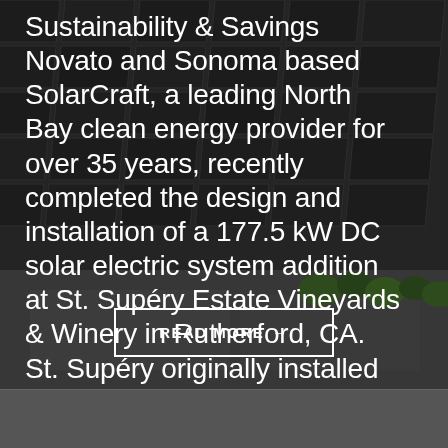[Figure (photo): Aerial view of solar panels installed on rooftop with surrounding landscape including trees and buildings, dark gray overlay]
Sustainability & Savings Novato and Sonoma based SolarCraft, a leading North Bay clean energy provider for over 35 years, recently completed the design and installation of a 177.5 kW DC solar electric system addition at St. Supéry Estate Vineyards & Winery in Rutherford, CA. St. Supéry originally installed [...]
READ MORE →